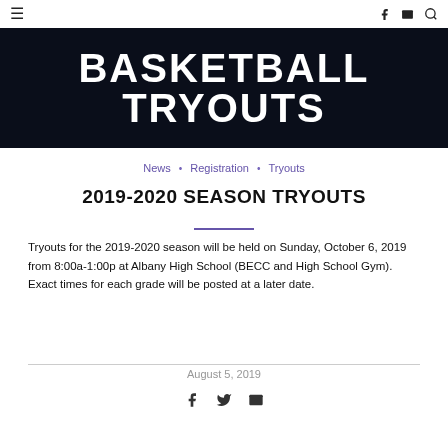≡  f ✉ 🔍
[Figure (photo): Dark background banner image with large bold white text reading BASKETBALL TRYOUTS]
News • Registration • Tryouts
2019-2020 SEASON TRYOUTS
Tryouts for the 2019-2020 season will be held on Sunday, October 6, 2019 from 8:00a-1:00p at Albany High School (BECC and High School Gym). Exact times for each grade will be posted at a later date.
August 5, 2019
[Figure (infographic): Social sharing icons: Facebook, Twitter, Email]